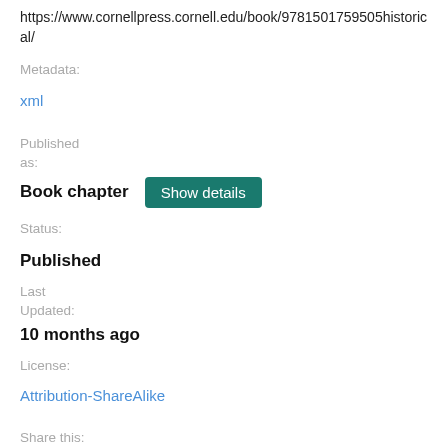https://www.cornellpress.cornell.edu/book/9781501759505historical/
Metadata:
xml
Published as:
Book chapter   Show details
Status:
Published
Last Updated:
10 months ago
License:
Attribution-ShareAlike
Share this: